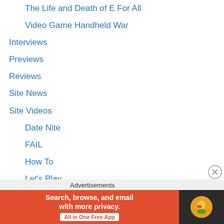The Life and Death of E For All
Video Game Handheld War
Interviews
Previews
Reviews
Site News
Site Videos
Date Nite
FAIL
How To
Let's Play
Lost Media
Maniac's Kitchen
Mind of Maniac
Podcasts
Preorder Stories
Princess Angel Reviews
Advertisements
[Figure (screenshot): DuckDuckGo advertisement banner: orange left section with text 'Search, browse, and email with more privacy. All in One Free App' and dark right section with DuckDuckGo duck logo]